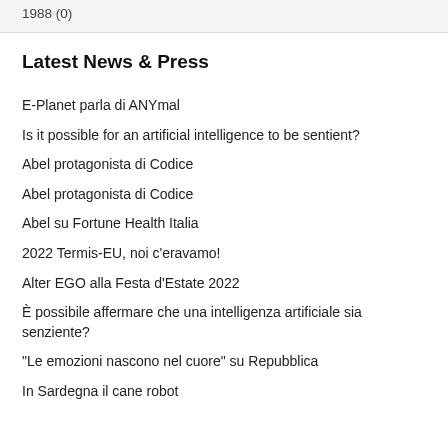1988 (0)
Latest News & Press
E-Planet parla di ANYmal
Is it possible for an artificial intelligence to be sentient?
Abel protagonista di Codice
Abel protagonista di Codice
Abel su Fortune Health Italia
2022 Termis-EU, noi c'eravamo!
Alter EGO alla Festa d'Estate 2022
È possibile affermare che una intelligenza artificiale sia senziente?
"Le emozioni nascono nel cuore" su Repubblica
In Sardegna il cane robot